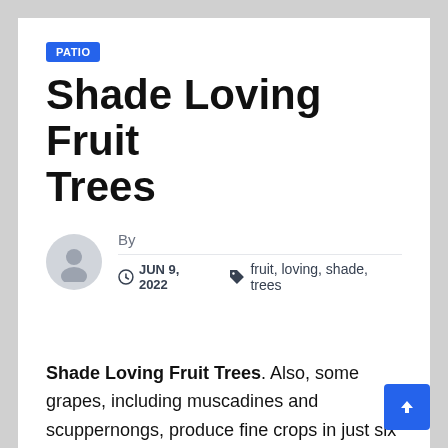PATIO
Shade Loving Fruit Trees
By  JUN 9, 2022  fruit, loving, shade, trees
Shade Loving Fruit Trees. Also, some grapes, including muscadines and scuppernongs, produce fine crops in just six hours of sunlight. Some fruit grows beautifully on the ground, while others need something to climb on